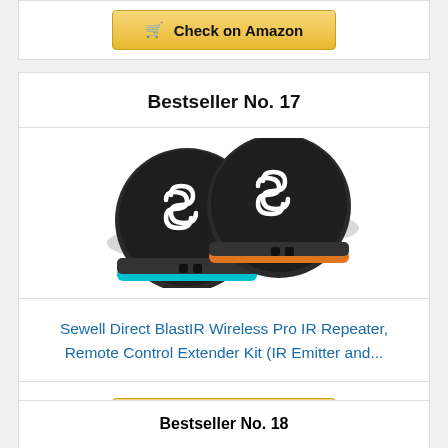[Figure (other): Check on Amazon button at top of page]
Bestseller No. 17
[Figure (photo): Two round black wireless IR repeater devices (Sewell Direct BlastIR Wireless Pro), one with blue accent and one with orange accent, viewed from above at an angle.]
Sewell Direct BlastIR Wireless Pro IR Repeater, Remote Control Extender Kit (IR Emitter and...
[Figure (other): Check on Amazon button below product]
Bestseller No. 18